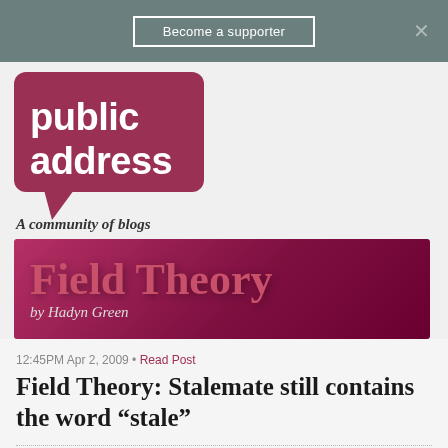Become a supporter
[Figure (logo): Public Address logo — dark red speech bubble shape with white text 'public address' and tagline 'A community of blogs']
[Figure (illustration): Field Theory blog banner — dark red/maroon gradient background with large pink text 'Field Theory' and italic white text 'by Hadyn Green']
12:45PM Apr 2, 2009 • Read Post
Field Theory: Stalemate still contains the word “stale”
63 RESPONSES   Subscribe by [mail icon] [rss icon]